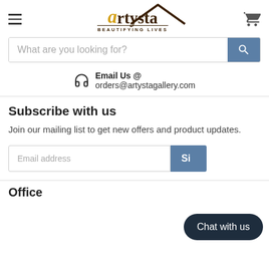[Figure (logo): Artysta logo with house icon and tagline BEAUTIFYING LIVES]
What are you looking for?
Email Us @ orders@artystagallery.com
Subscribe with us
Join our mailing list to get new offers and product updates.
Email address
Chat with us
Office